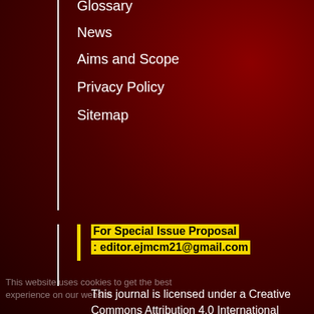Home
Glossary
News
Aims and Scope
Privacy Policy
Sitemap
For Special Issue Proposal : editor.ejmcm21@gmail.com
This journal is licensed under a Creative Commons Attribution 4.0 International (CC-BY 4.0)
Powered by eJournalPlus
This website uses cookies to get the best experience on our website Learn more
Got it!